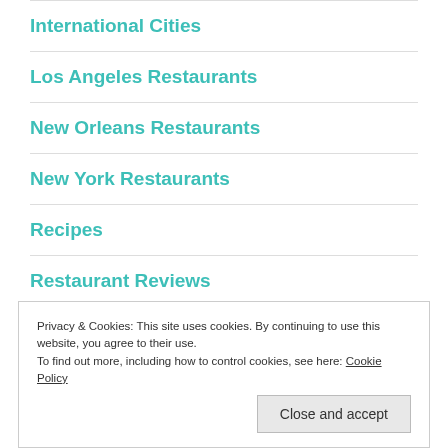International Cities
Los Angeles Restaurants
New Orleans Restaurants
New York Restaurants
Recipes
Restaurant Reviews
Privacy & Cookies: This site uses cookies. By continuing to use this website, you agree to their use. To find out more, including how to control cookies, see here: Cookie Policy
Close and accept